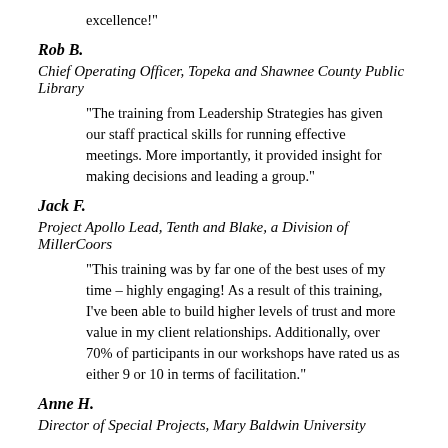“I can’t… Thank you guys for continued excellence!”
Rob B.
Chief Operating Officer, Topeka and Shawnee County Public Library
“The training from Leadership Strategies has given our staff practical skills for running effective meetings. More importantly, it provided insight for making decisions and leading a group.”
Jack F.
Project Apollo Lead, Tenth and Blake, a Division of MillerCoors
“This training was by far one of the best uses of my time – highly engaging! As a result of this training, I’ve been able to build higher levels of trust and more value in my client relationships. Additionally, over 70% of participants in our workshops have rated us as either 9 or 10 in terms of facilitation.”
Anne H.
Director of Special Projects, Mary Baldwin University